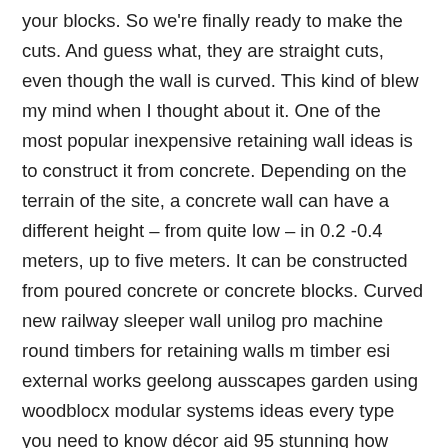your blocks. So we're finally ready to make the cuts. And guess what, they are straight cuts, even though the wall is curved. This kind of blew my mind when I thought about it. One of the most popular inexpensive retaining wall ideas is to construct it from concrete. Depending on the terrain of the site, a concrete wall can have a different height – from quite low – in 0.2 -0.4 meters, up to five meters. It can be constructed from poured concrete or concrete blocks. Curved new railway sleeper wall unilog pro machine round timbers for retaining walls m timber esi external works geelong ausscapes garden using woodblocx modular systems ideas every type you need to know décor aid 95 stunning how build a with sleepers from wood stone concrete this old house 111 awesome farmfoodfamily Curved New Railway Sleeper … Continue